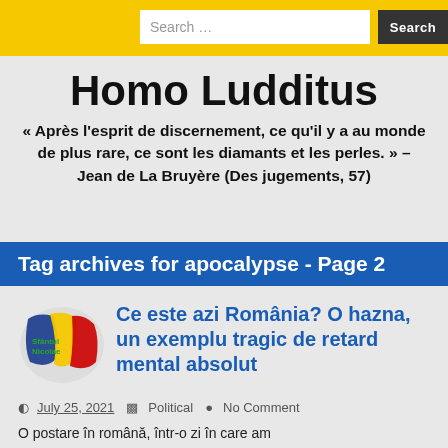Search ... [Search button]
Homo Ludditus
« Après l'esprit de discernement, ce qu'il y a au monde de plus rare, ce sont les diamants et les perles. » – Jean de La Bruyère (Des jugements, 57)
Tag archives for apocalypse - Page 2
[Figure (illustration): Romanian flag paint splash with text overlay]
Ce este azi România? O hazna, un exemplu tragic de retard mental absolut
July 25, 2021   Political   No Comment
O postare în română, într-o zi în care am